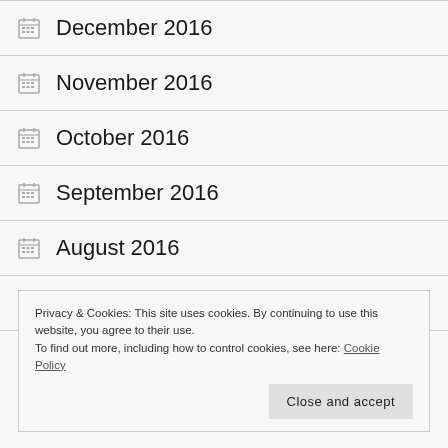December 2016
November 2016
October 2016
September 2016
August 2016
July 2016
Privacy & Cookies: This site uses cookies. By continuing to use this website, you agree to their use.
To find out more, including how to control cookies, see here: Cookie Policy